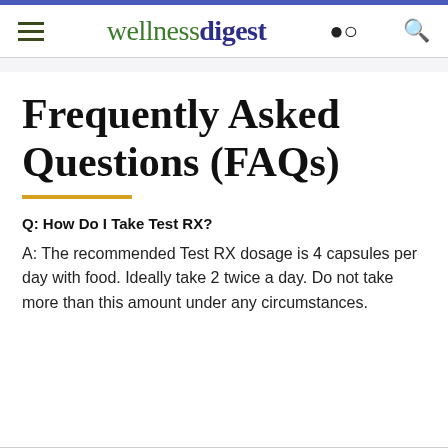wellnessdigest
Frequently Asked Questions (FAQs)
Q: How Do I Take Test RX?
A: The recommended Test RX dosage is 4 capsules per day with food. Ideally take 2 twice a day. Do not take more than this amount under any circumstances.